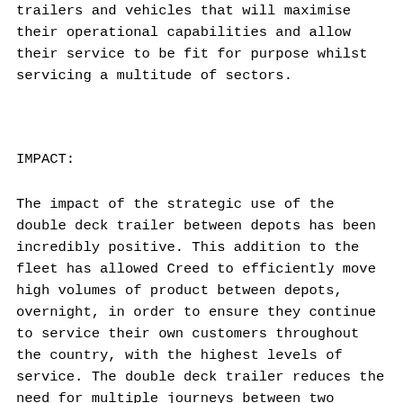trailers and vehicles that will maximise their operational capabilities and allow their service to be fit for purpose whilst servicing a multitude of sectors.
IMPACT:
The impact of the strategic use of the double deck trailer between depots has been incredibly positive. This addition to the fleet has allowed Creed to efficiently move high volumes of product between depots, overnight, in order to ensure they continue to service their own customers throughout the country, with the highest levels of service. The double deck trailer reduces the need for multiple journeys between two depots, not only reducing